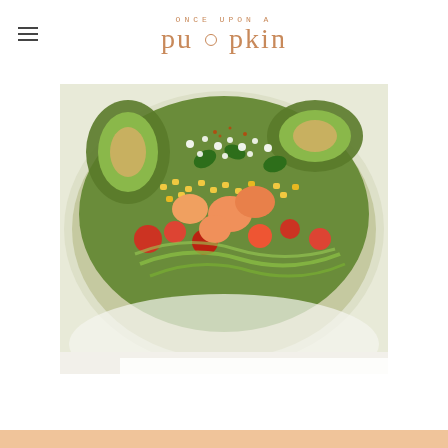Once Upon a Pumpkin
[Figure (photo): A bowl of summer salad with avocado slices, corn, cherry tomatoes, zucchini noodles, peaches, basil leaves, and crumbled white cheese from above.]
SUMMER ZOODLE AVOCADO & PEACH SALAD